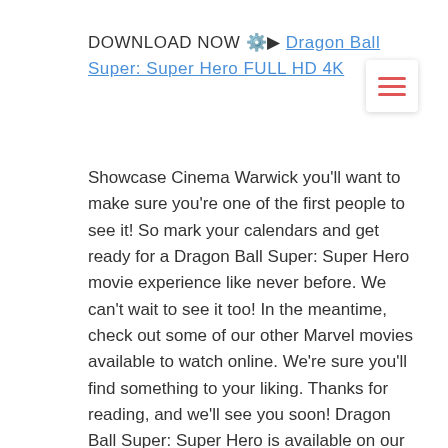DOWNLOAD NOW ⚙️▶ Dragon Ball Super: Super Hero FULL HD 4K
[Figure (other): Hamburger menu icon with three red horizontal lines on a white card with shadow]
Showcase Cinema Warwick you'll want to make sure you're one of the first people to see it! So mark your calendars and get ready for a Dragon Ball Super: Super Hero movie experience like never before. We can't wait to see it too! In the meantime, check out some of our other Marvel movies available to watch online. We're sure you'll find something to your liking. Thanks for reading, and we'll see you soon! Dragon Ball Super: Super Hero is available on our website for free streaming. Just click the link below to watch the full movie in its entirety. Details on how you can watch Dragon Ball Super: Super Hero for free throughout the year are